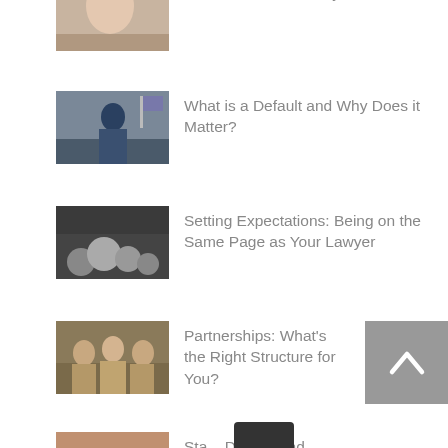Allowances: a Stealthy Cost-Plus?
What is a Default and Why Does it Matter?
Setting Expectations: Being on the Same Page as Your Lawyer
Partnerships: What's the Right Structure for You?
Sta... Do You and